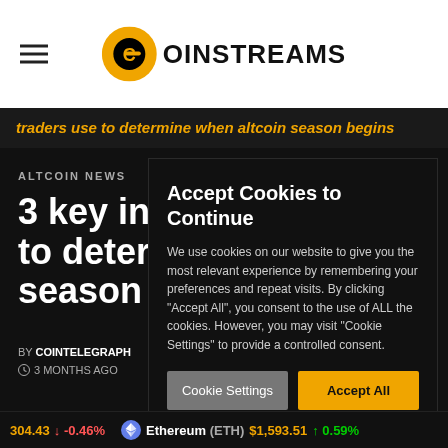Coinstreams
traders use to determine when altcoin season begins
ALTCOIN NEWS
3 key in to deter season b
BY COINTELEGRAPH
3 MONTHS AGO
Accept Cookies to Continue
We use cookies on our website to give you the most relevant experience by remembering your preferences and repeat visits. By clicking "Accept All", you consent to the use of ALL the cookies. However, you may visit "Cookie Settings" to provide a controlled consent.
Cookie Settings  Accept All
304.43 ↓ -0.46%   Ethereum (ETH) $1,593.51 ↑ 0.59%